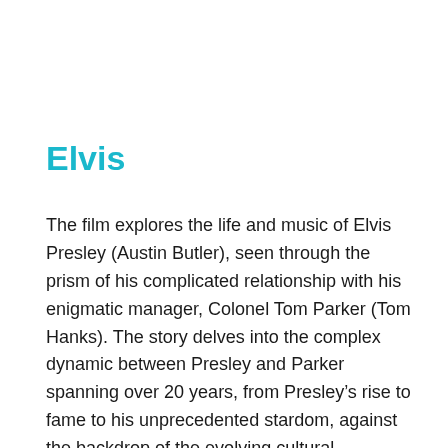Elvis
The film explores the life and music of Elvis Presley (Austin Butler), seen through the prism of his complicated relationship with his enigmatic manager, Colonel Tom Parker (Tom Hanks). The story delves into the complex dynamic between Presley and Parker spanning over 20 years, from Presley’s rise to fame to his unprecedented stardom, against the backdrop of the evolving cultural landscape and loss of innocence in America. Central to that journey is one of the most significant and influential people in Elvis’s life, Priscilla Presley (Olivia DeJonge).